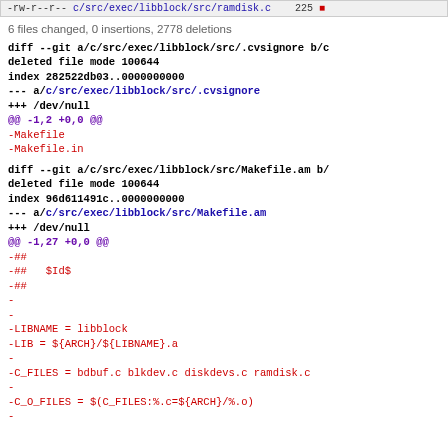-rw-r--r-- c/src/exec/libblock/src/ramdisk.c  225 [red square]
6 files changed, 0 insertions, 2778 deletions
diff --git a/c/src/exec/libblock/src/.cvsignore b/c/...
deleted file mode 100644
index 282522db03..0000000000
--- a/c/src/exec/libblock/src/.cvsignore
+++ /dev/null
@@ -1,2 +0,0 @@
-Makefile
-Makefile.in
diff --git a/c/src/exec/libblock/src/Makefile.am b/...
deleted file mode 100644
index 96d611491c..0000000000
--- a/c/src/exec/libblock/src/Makefile.am
+++ /dev/null
@@ -1,27 +0,0 @@
-##
-##   $Id$
-##
-
-
-LIBNAME = libblock
-LIB = ${ARCH}/${LIBNAME}.a
-
-C_FILES = bdbuf.c blkdev.c diskdevs.c ramdisk.c
-
-C_O_FILES = $(C_FILES:%.c=${ARCH}/%.o)
-